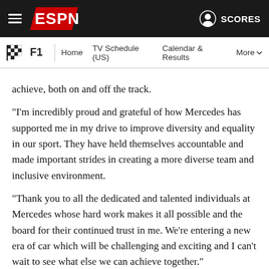ESPN F1 | Home | TV Schedule (US) | Calendar & Results | More
achieve, both on and off the track.
"I'm incredibly proud and grateful of how Mercedes has supported me in my drive to improve diversity and equality in our sport. They have held themselves accountable and made important strides in creating a more diverse team and inclusive environment.
"Thank you to all the dedicated and talented individuals at Mercedes whose hard work makes it all possible and the board for their continued trust in me. We're entering a new era of car which will be challenging and exciting and I can't wait to see what else we can achieve together."
Wolff, who is a 33% shareholder in the Mercedes team and